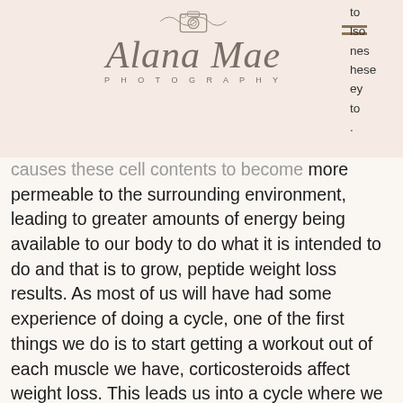[Figure (logo): Alana Mae Photography logo with camera icon and script text]
to lso ines hese ey to
causes these cell contents to become more permeable to the surrounding environment, leading to greater amounts of energy being available to our body to do what it is intended to do and that is to grow, peptide weight loss results. As most of us will have had some experience of doing a cycle, one of the first things we do is to start getting a workout out of each muscle we have, corticosteroids affect weight loss. This leads us into a cycle where we start pushing the limits, then as our size increases we push further and further and by the point we are as big as we possibly can get. It is easy to see how this is a great way for a drug user to